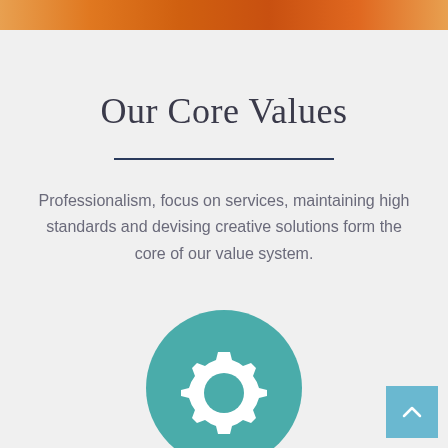[Figure (photo): Cropped photo strip at top showing orange-colored image, partially visible]
Our Core Values
Professionalism, focus on services, maintaining high standards and devising creative solutions form the core of our value system.
[Figure (illustration): Teal circular icon with a white gear/cog symbol in the center]